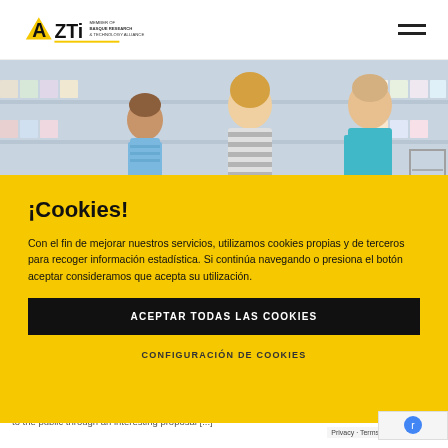[Figure (logo): AZTI logo with text MEMBER OF BASQUE RESEARCH & TECHNOLOGY ALLIANCE]
[Figure (photo): People shopping in a supermarket aisle looking at products on shelves]
¡Cookies!
Con el fin de mejorar nuestros servicios, utilizamos cookies propias y de terceros para recoger información estadística. Si continúa navegando o presiona el botón aceptar consideramos que acepta su utilización.
ACEPTAR TODAS LAS COOKIES
CONFIGURACIÓN DE COOKIES
...seeks to bring all the latest AZTI innovations to the public through an interesting proposal [...]